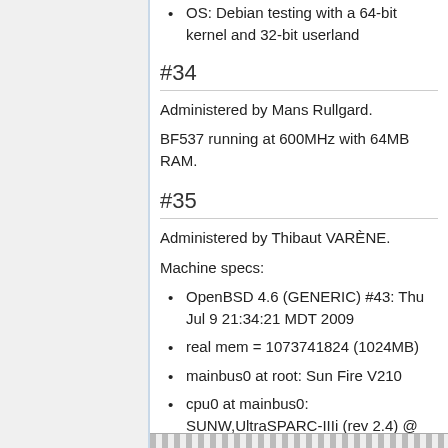OS: Debian testing with a 64-bit kernel and 32-bit userland
#34
Administered by Mans Rullgard.
BF537 running at 600MHz with 64MB RAM.
#35
Administered by Thibaut VARÈNE.
Machine specs:
OpenBSD 4.6 (GENERIC) #43: Thu Jul 9 21:34:21 MDT 2009
real mem = 1073741824 (1024MB)
mainbus0 at root: Sun Fire V210
cpu0 at mainbus0: SUNW,UltraSPARC-IIIi (rev 2.4) @ 1002 MHz